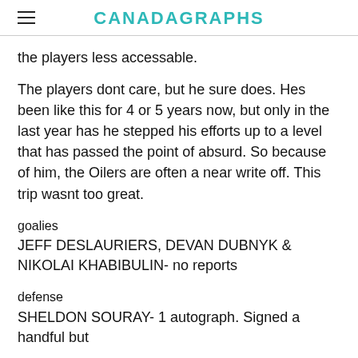CANADAGRAPHS
the players less accessable.
The players dont care, but he sure does. Hes been like this for 4 or 5 years now, but only in the last year has he stepped his efforts up to a level that has passed the point of absurd. So because of him, the Oilers are often a near write off. This trip wasnt too great.
goalies
JEFF DESLAURIERS, DEVAN DUBNYK & NIKOLAI KHABIBULIN- no reports
defense
SHELDON SOURAY- 1 autograph. Signed a handful but